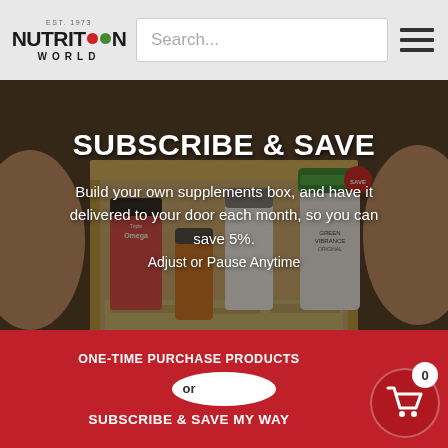[Figure (logo): Nutrition World logo with EST. 1973 text above, stylized NUTRITION WORLD text]
Search...
[Figure (illustration): Hamburger menu icon with three horizontal lines]
[Figure (photo): Hands holding an open cardboard box filled with supplement bottles including Green Vibrance and other products]
SUBSCRIBE & SAVE
Build your own supplements box, and have it delivered to your door each month, so you can save 5%. Adjust or Pause Anytime
ONE-TIME PURCHASE PRODUCTS
or
SUBSCRIBE & SAVE MY WAY